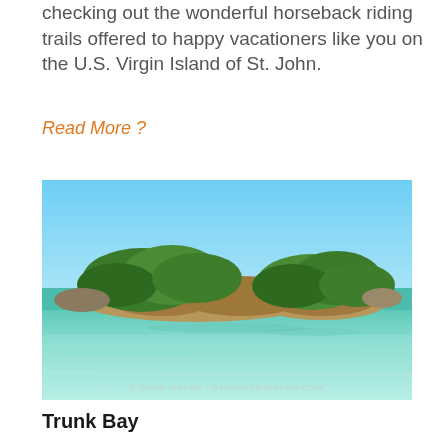checking out the wonderful horseback riding trails offered to happy vacationers like you on the U.S. Virgin Island of St. John.
Read More ?
[Figure (photo): A tropical island with green vegetation sitting in clear turquoise water under a blue sky. Watermark reads: © JOHN WALSH · STJONKTRAVELER.COM]
Trunk Bay